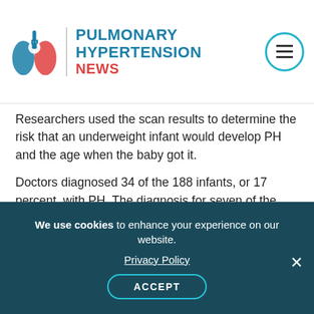PULMONARY HYPERTENSION NEWS
Researchers used the scan results to determine the risk that an underweight infant would develop PH and the age when the baby got it.
Doctors diagnosed 34 of the 188 infants, or 17 percent, with PH. The diagnosis for seven of the babies — or 41 percent of those identified as having PH — came after they had left the hospital.
Advertisement
We use cookies to enhance your experience on our website. Privacy Policy ACCEPT